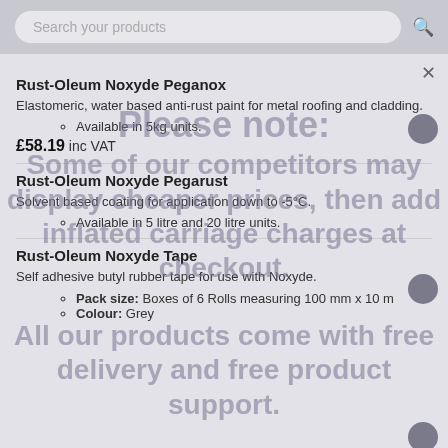Search your products
Rust-Oleum Noxyde Peganox
Elastomeric, water based anti-rust paint for metal roofing and cladding.
Available in 5kg units.
£58.19 inc VAT
Rust-Oleum Noxyde Pegarust
Solvent based coating for application down to -5°C.
Available in 5 litre and 20 litre units.
Rust-Oleum Noxyde Tape
Self adhesive butyl rubber tape for use with Noxyde.
Pack size: Boxes of 6 Rolls measuring 100 mm x 10 m
Colour: Grey
Please note:
Some of our competitors may display cheaper prices, then add inflated carriage charges at checkout.
All our products come with free delivery and free product support.